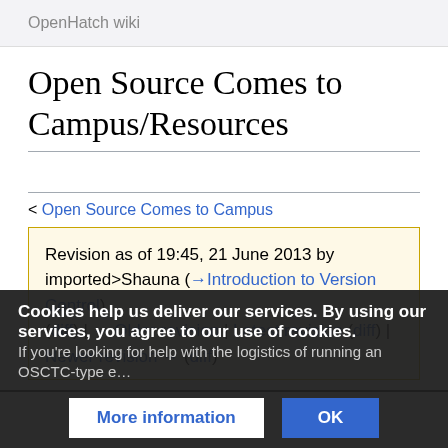OpenHatch wiki
Open Source Comes to Campus/Resources
< Open Source Comes to Campus
Revision as of 19:45, 21 June 2013 by imported>Shauna (→Introduction to Version Control)
(diff) ← Older revision | Latest revision (diff) | Newer revision → (diff)
Cookies help us deliver our services. By using our services, you agree to our use of cookies.
If you're looking for help with the logistics of running an OSCTC-type e…
More information  OK